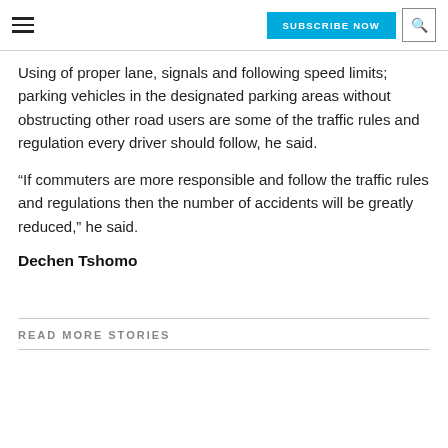SUBSCRIBE NOW
Using of proper lane, signals and following speed limits; parking vehicles in the designated parking areas without obstructing other road users are some of the traffic rules and regulation every driver should follow, he said.
“If commuters are more responsible and follow the traffic rules and regulations then the number of accidents will be greatly reduced,” he said.
Dechen Tshomo
READ MORE STORIES